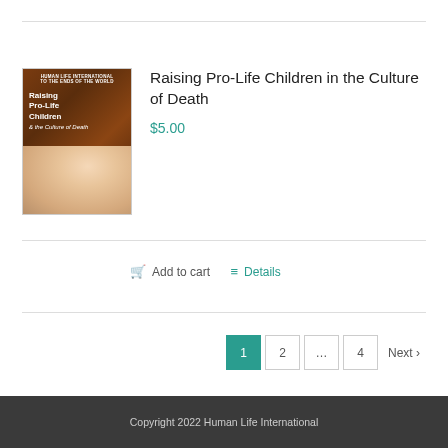[Figure (illustration): Book cover for 'Raising Pro-Life Children in the Culture of Death' with Human Life International logo at top, title text, and a photo of a woman and child]
Raising Pro-Life Children in the Culture of Death
$5.00
Add to cart   Details
1  2  ...  4  Next >
Copyright 2022 Human Life International